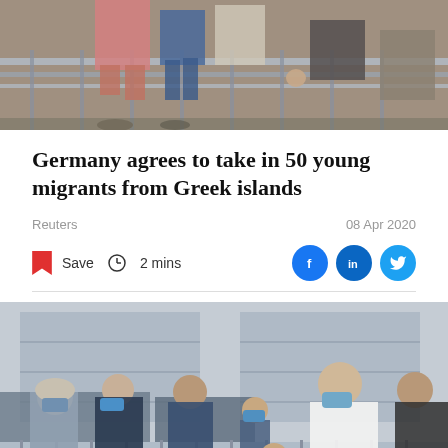[Figure (photo): Top portion of photo showing people near metal barriers/railings, partial view of legs and lower bodies]
Germany agrees to take in 50 young migrants from Greek islands
Reuters
08 Apr 2020
Save  2 mins
[Figure (photo): Group of migrants wearing face masks standing behind metal crowd-control barriers. A man in a white hoodie stands at the right side of the barrier. A child in a pink coat is visible in the foreground.]